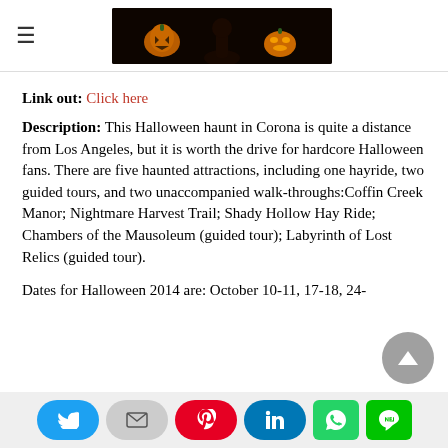≡ [Halloween haunt header image]
Link out: Click here
Description: This Halloween haunt in Corona is quite a distance from Los Angeles, but it is worth the drive for hardcore Halloween fans. There are five haunted attractions, including one hayride, two guided tours, and two unaccompanied walk-throughs:Coffin Creek Manor; Nightmare Harvest Trail; Shady Hollow Hay Ride; Chambers of the Mausoleum (guided tour); Labyrinth of Lost Relics (guided tour).
Dates for Halloween 2014 are: October 10-11, 17-18, 24-